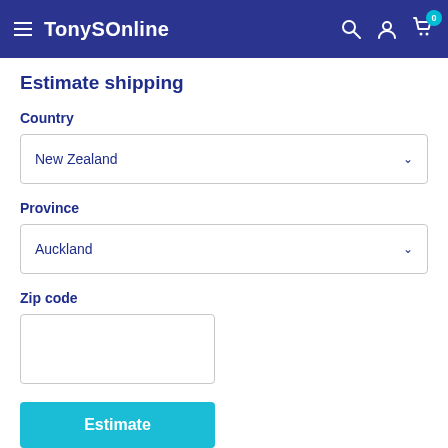TonySOnline
Estimate shipping
Country
New Zealand
Province
Auckland
Zip code
Estimate